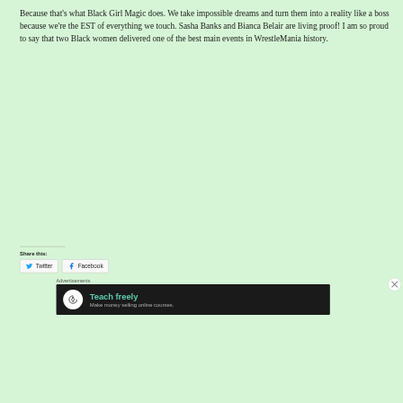Because that's what Black Girl Magic does. We take impossible dreams and turn them into a reality like a boss because we're the EST of everything we touch. Sasha Banks and Bianca Belair are living proof! I am so proud to say that two Black women delivered one of the best main events in WrestleMania history.
Share this:
[Figure (other): Share buttons for Twitter and Facebook]
Advertisements
[Figure (other): Advertisement banner: Teach freely - Make money selling online courses.]